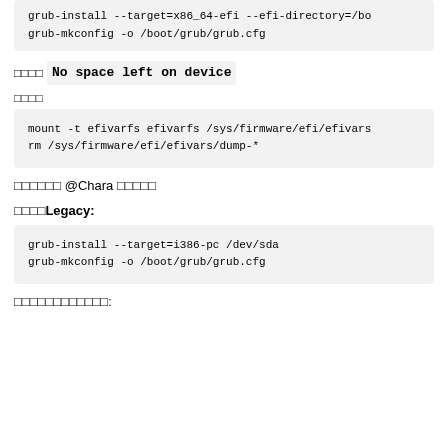grub-install --target=x86_64-efi --efi-directory=/bo
grub-mkconfig -o /boot/grub/grub.cfg
□□□□ No space left on device
□□□□
mount -t efivarfs efivarfs /sys/firmware/efi/efivars
rm /sys/firmware/efi/efivars/dump-*
□□□□□□ @Chara □□□□□
□□□□Legacy:
grub-install --target=i386-pc /dev/sda
grub-mkconfig -o /boot/grub/grub.cfg
□□□□□□□□□□□□: